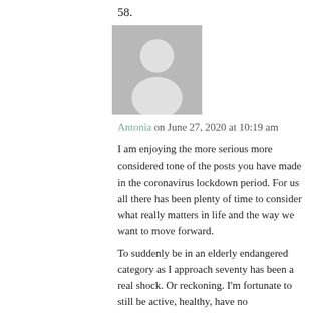58.
[Figure (illustration): Generic grey avatar/profile placeholder image showing a white silhouette of a person on a grey background]
Antonia on June 27, 2020 at 10:19 am
I am enjoying the more serious more considered tone of the posts you have made in the coronavirus lockdown period. For us all there has been plenty of time to consider what really matters in life and the way we want to move forward.
To suddenly be in an elderly endangered category as I approach seventy has been a real shock. Or reckoning. I'm fortunate to still be active, healthy, have no comorbidities and yet in England have to stay sequestered. Some very interesting comments today in the FT written by Patti Waldmeir in Porting Slot column, in